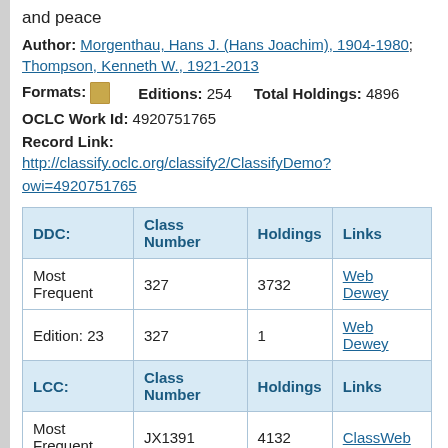and peace
Author: Morgenthau, Hans J. (Hans Joachim), 1904-1980; Thompson, Kenneth W., 1921-2013
Formats: [book icon]   Editions: 254   Total Holdings: 4896
OCLC Work Id: 4920751765
Record Link:
http://classify.oclc.org/classify2/ClassifyDemo?owi=4920751765
| DDC: | Class Number | Holdings | Links |
| --- | --- | --- | --- |
| Most Frequent | 327 | 3732 | Web Dewey |
| Edition: 23 | 327 | 1 | Web Dewey |
| LCC: | Class Number | Holdings | Links |
| Most Frequent | JX1391 | 4132 | ClassWeb |
DDC   LCC   All
DDC